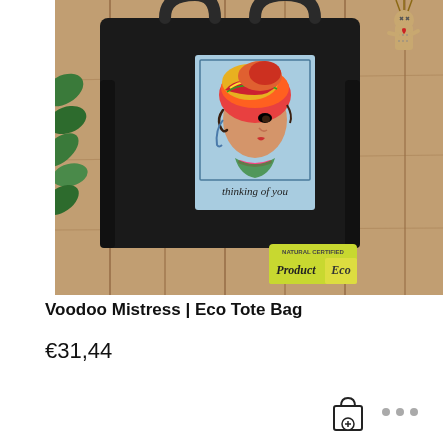[Figure (photo): A black eco tote bag with a colorful illustration of a woman in a headwrap with text 'thinking of you', hanging on a wooden fence. A Natural Certified Eco Product badge is visible in the bottom right corner.]
Voodoo Mistress | Eco Tote Bag
€31,44